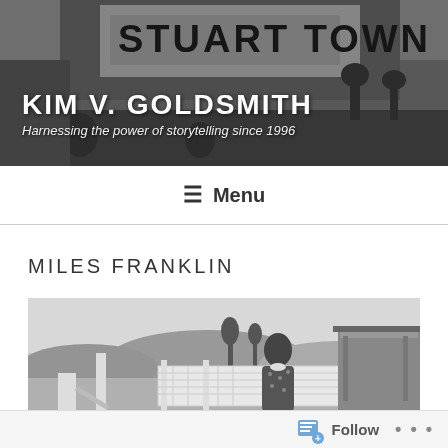KIM V. GOLDSMITH
Harnessing the power of storytelling since 1996
≡ Menu
MILES FRANKLIN
[Figure (photo): Black and white photograph of a woman standing outdoors in a floral dress, with rolling hills, trees, and a building with a verandah in the background.]
Follow  ···